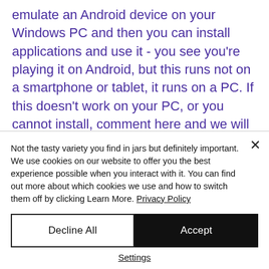emulate an Android device on your Windows PC and then you can install applications and use it - you see you're playing it on Android, but this runs not on a smartphone or tablet, it runs on a PC. If this doesn't work on your PC, or you cannot install, comment here and we will help you! Install & Play using BlueStacks Install & Play using NoxPlayer, common interface 5v only cos'è. Step By Step Guide To Play Double Down Casino Slots...
Not the tasty variety you find in jars but definitely important. We use cookies on our website to offer you the best experience possible when you interact with it. You can find out more about which cookies we use and how to switch them off by clicking Learn More. Privacy Policy
Decline All
Accept
Settings